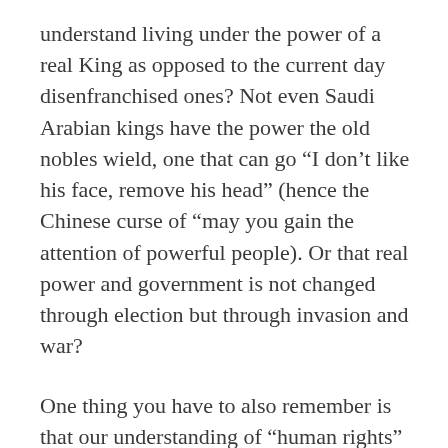understand living under the power of a real King as opposed to the current day disenfranchised ones? Not even Saudi Arabian kings have the power the old nobles wield, one that can go “I don’t like his face, remove his head” (hence the Chinese curse of “may you gain the attention of powerful people). Or that real power and government is not changed through election but through invasion and war?
One thing you have to also remember is that our understanding of “human rights” is a lot different from their own. Some actions that is logical and correct to them is anathema to us and some things that we do can be said to be outright stupidity to them (les majesty on the internet anyone?).